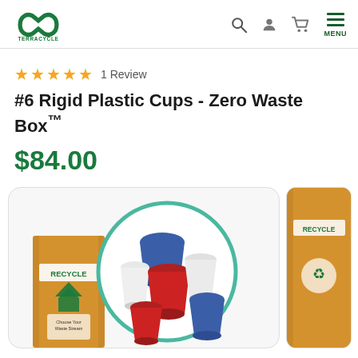[Figure (logo): TerraCycle logo with infinity symbol]
★★★★★  1 Review
#6 Rigid Plastic Cups - Zero Waste Box™
$84.00
[Figure (photo): Product photo showing Zero Waste Box with colorful plastic cups (blue, red, white) in a circular green-teal bordered circle, with cardboard RECYCLE box in background]